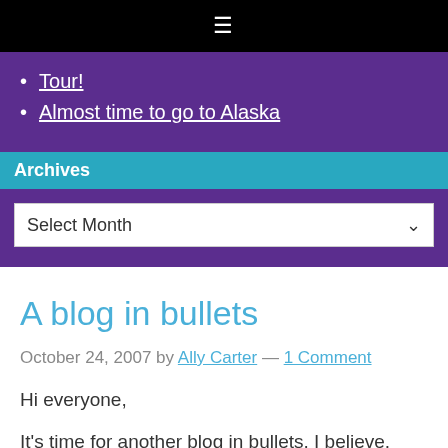☰
Tour!
Almost time to go to Alaska
Archives
Select Month
A blog in bullets
October 24, 2007 by Ally Carter — 1 Comment
Hi everyone,
It's time for another blog in bullets, I believe. Because I can't seem to string together a